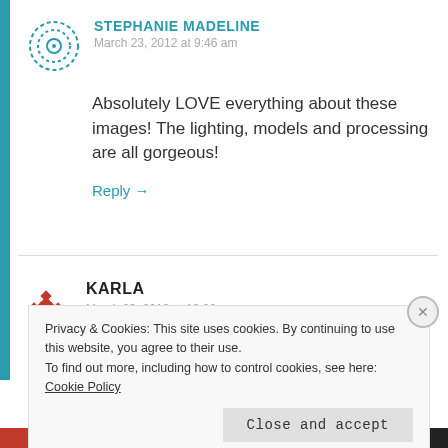STEPHANIE MADELINE
March 23, 2012 at 9:46 am
Absolutely LOVE everything about these images! The lighting, models and processing are all gorgeous!
Reply →
KARLA
March 23, 2012 at 10:22 am
Privacy & Cookies: This site uses cookies. By continuing to use this website, you agree to their use. To find out more, including how to control cookies, see here: Cookie Policy
Close and accept